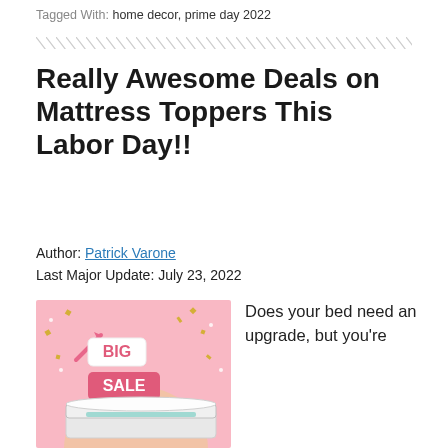Tagged With: home decor, prime day 2022
[Figure (illustration): Decorative diagonal stripe divider line]
Really Awesome Deals on Mattress Toppers This Labor Day!!
Author: Patrick Varone
Last Major Update: July 23, 2022
[Figure (photo): Promotional image with pink background, confetti, a mattress topper on a bed, and BIG SALE tags]
Does your bed need an upgrade, but you're